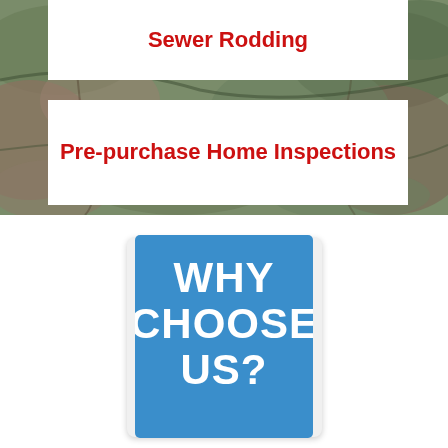[Figure (photo): Background photo of mossy stone/rock texture with two white overlaid text banners. Top banner reads 'Sewer Rodding' in red bold text. Bottom banner reads 'Pre-purchase Home Inspections' in red bold text.]
[Figure (photo): Blue sign on white background with white bold text reading 'WHY CHOOSE US?' - sign is partially cropped showing only 'WHY CHOOSE' and partial bottom text.]